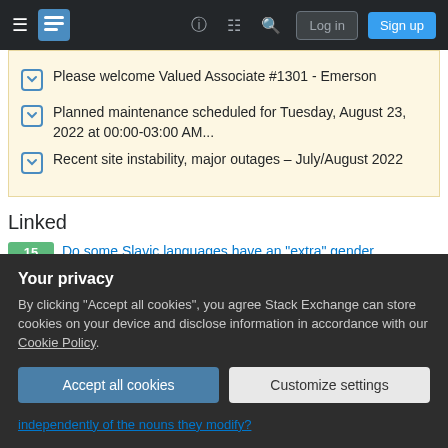[Figure (screenshot): Stack Exchange navigation bar with hamburger menu, logo, help icon, chat icon, search icon, Log in and Sign up buttons on dark background]
Please welcome Valued Associate #1301 - Emerson
Planned maintenance scheduled for Tuesday, August 23, 2022 at 00:00-03:00 AM...
Recent site instability, major outages – July/August 2022
Linked
Do some Slavic languages have an "extra" gender distinction for animate nouns?
Related
Your privacy
By clicking "Accept all cookies", you agree Stack Exchange can store cookies on your device and disclose information in accordance with our Cookie Policy.
independently of the nouns they modify?